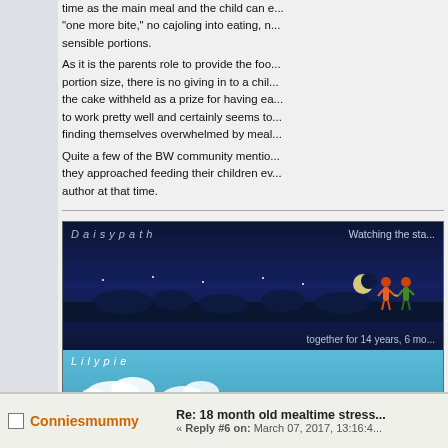time as the main meal and the child can e... "one more bite," no cajoling into eating, n... sensible portions. As it is the parents role to provide the foo... portion size, there is no giving in to a chil... the cake withheld as a prize for having ea... to work pretty well and certainly seems to... finding themselves overwhelmed by meal... Quite a few of the BW community mentio... they approached feeding their children ev... author at that time.
[Figure (screenshot): Forum user's signature image showing two decorative banner widgets: a Daisypath anniversary banner showing 'Watching the st...' and 'together for 14 years, 6 mo...' and a Lilypie children's ticker showing 'Our child is 11 years, 7 months, 3...']
Conniesmummy
Re: 18 month old mealtime stress... « Reply #6 on: March 07, 2017, 13:16:4...